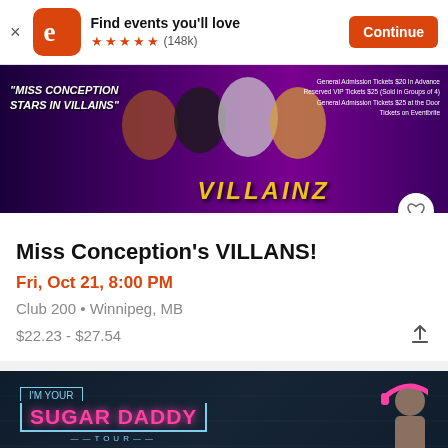Find events you'll love ★★★★★ (148k) Continue
[Figure (photo): Miss Conception Stars in Villains event banner with performers in costume against purple background with VILLAINZ text]
Miss Conception's VILLANS!
Fri, Oct 21, 8:00 PM
Club 200 • Winnipeg, MB
$22.23 - $27.54
[Figure (photo): I'm Your Sugar Daddy Tour event banner with neon text on dark brick background and person with headphones]